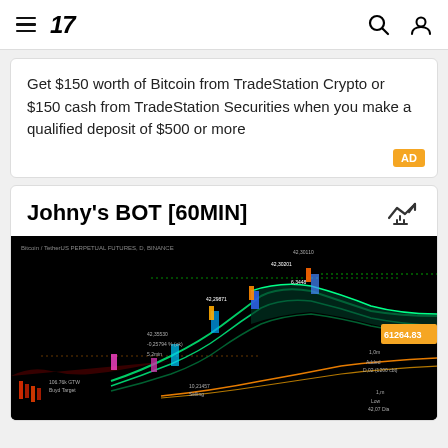TradingView navigation header with hamburger menu, 17 logo, search icon, and account icon
Get $150 worth of Bitcoin from TradeStation Crypto or $150 cash from TradeStation Securities when you make a qualified deposit of $500 or more
Johny's BOT [60MIN]
[Figure (screenshot): TradingView chart screenshot showing a cryptocurrency trading bot indicator (Johny's BOT 60MIN) on a black background with green, red, and multicolored moving average lines, buy/sell signals, and a price label of 61264.83 in an orange box on the right side. Chart label reads 'Bitcoin / TetherUS PERPETUAL FUTURES, D, BINANCE'.]